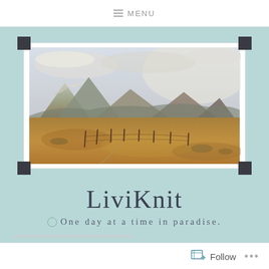≡ MENU
[Figure (photo): Landscape photo of a Scottish or Nordic highland scene with golden moorland in the foreground, wooden fence posts, and snow-capped mountains under an overcast cloudy sky. Photo is mounted in a white mat with dark corner brackets.]
LiviKnit
One day at a time in paradise.
Follow ...